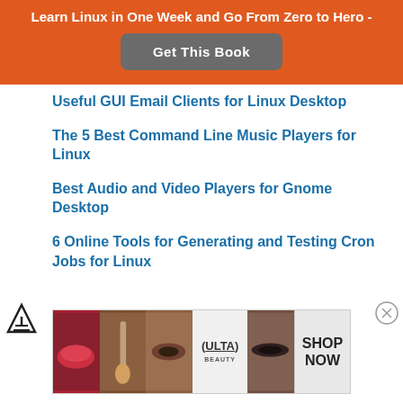Learn Linux in One Week and Go From Zero to Hero -
Get This Book
Useful GUI Email Clients for Linux Desktop
The 5 Best Command Line Music Players for Linux
Best Audio and Video Players for Gnome Desktop
6 Online Tools for Generating and Testing Cron Jobs for Linux
[Figure (illustration): Ad icon - triangle/funnel shape on left side]
[Figure (illustration): Close/X button circle on right side]
[Figure (photo): Ulta Beauty advertisement banner showing makeup imagery with SHOP NOW text]